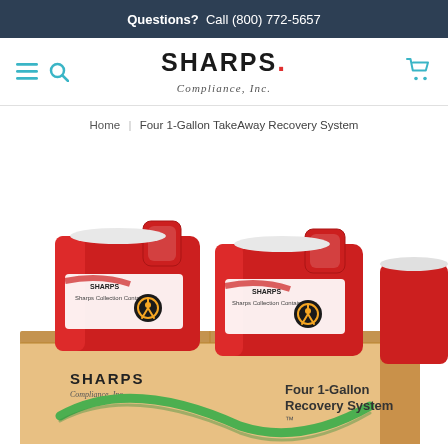Questions? Call (800) 772-5657
[Figure (logo): Sharps Compliance, Inc. logo with navigation icons (hamburger menu, search, shopping cart)]
Home | Four 1-Gallon TakeAway Recovery System
[Figure (photo): Two red Sharps Collection Containers (1-gallon) sitting on top of a cardboard box labeled 'SHARPS Compliance, Inc. — Four 1-Gallon Recovery System']